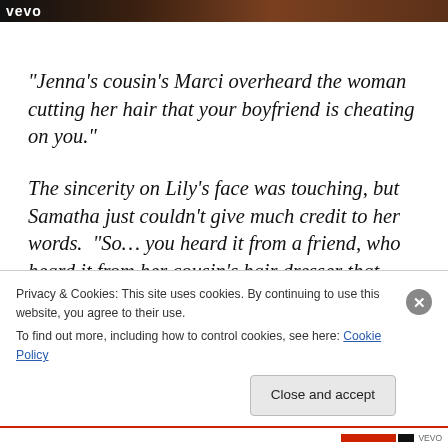[Figure (photo): Top banner with Vevo logo over a dark reddish-brown background image]
“Jenna’s cousin’s Marci overheard the woman cutting her hair that your boyfriend is cheating on you.”
The sincerity on Lily’s face was touching, but Samatha just couldn’t give much credit to her words.  “So… you heard it from a friend, who heard it from her cousin’s hair dresser that Mark is cheating on me?”  It sounded ridiculous, but it
Privacy & Cookies: This site uses cookies. By continuing to use this website, you agree to their use.
To find out more, including how to control cookies, see here: Cookie Policy
Close and accept